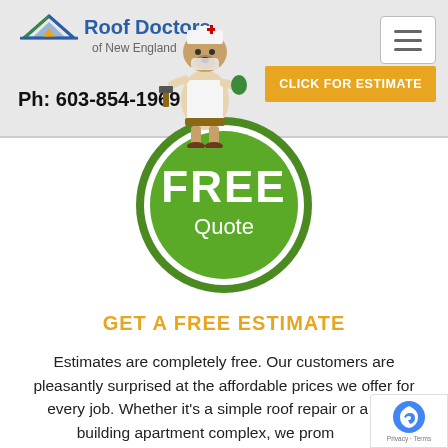[Figure (logo): Roof Doctors of New England logo with house/roof icon in blue, green and yellow]
Ph: 603-854-1969
[Figure (illustration): Cartoon dog mascot dressed as a doctor/roofer holding tools]
CLICK FOR ESTIMATE
[Figure (infographic): Green circle badge with text FREE Quote]
GET A FREE ESTIMATE
Estimates are completely free. Our customers are pleasantly surprised at the affordable prices we offer for every job. Whether it's a simple roof repair or a new building apartment complex, we promise to provide the best service.